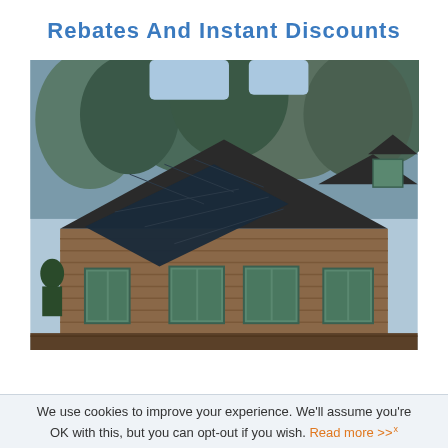Rebates And Instant Discounts
[Figure (photo): A house with solar panels installed on a dark shingled roof. The house has wood siding, green-trimmed windows, and is surrounded by trees. Solar panels cover a large portion of the roof.]
We use cookies to improve your experience. We'll assume you're OK with this, but you can opt-out if you wish. Read more >>